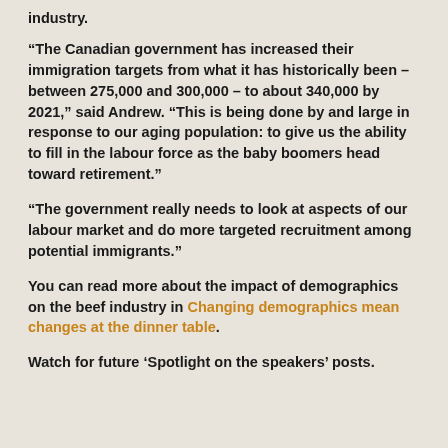industry.
“The Canadian government has increased their immigration targets from what it has historically been – between 275,000 and 300,000 – to about 340,000 by 2021,” said Andrew. “This is being done by and large in response to our aging population: to give us the ability to fill in the labour force as the baby boomers head toward retirement.”
“The government really needs to look at aspects of our labour market and do more targeted recruitment among potential immigrants.”
You can read more about the impact of demographics on the beef industry in Changing demographics mean changes at the dinner table.
Watch for future ‘Spotlight on the speakers’ posts.